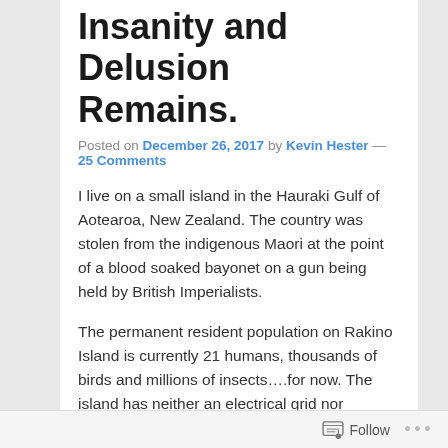Insanity and Delusion Remains.
Posted on December 26, 2017 by Kevin Hester — 25 Comments
I live on a small island in the Hauraki Gulf of Aotearoa, New Zealand. The country was stolen from the indigenous Maori at the point of a blood soaked bayonet on a gun being held by British Imperialists.
The permanent resident population on Rakino Island is currently 21 humans, thousands of birds and millions of insects….for now. The island has neither an electrical grid nor reticulated water. I generate electricity with a solar array built with rare earth metals unscrupulously mined in 'developing' nations with close to no environmental controls and naturally tonnes of carbon. I store the energy in toxic batteries full of acid and catch
Follow